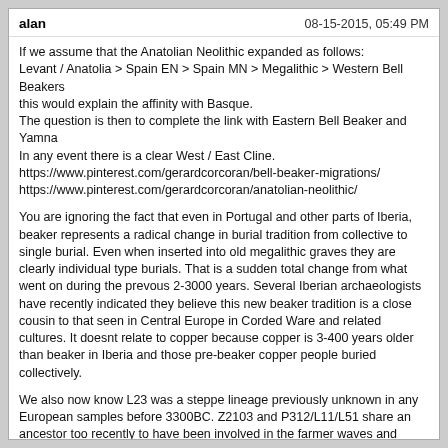alan | 08-15-2015, 05:49 PM
If we assume that the Anatolian Neolithic expanded as follows:
Levant / Anatolia > Spain EN > Spain MN > Megalithic > Western Bell Beakers
this would explain the affinity with Basque.
The question is then to complete the link with Eastern Bell Beaker and Yamna
In any event there is a clear West / East Cline.
https://www.pinterest.com/gerardcorcoran/bell-beaker-migrations/
https://www.pinterest.com/gerardcorcoran/anatolian-neolithic/
You are ignoring the fact that even in Portugal and other parts of Iberia, beaker represents a radical change in burial tradition from collective to single burial. Even when inserted into old megalithic graves they are clearly individual type burials. That is a sudden total change from what went on during the prevous 2-3000 years. Several Iberian archaeologists have recently indicated they believe this new beaker tradition is a close cousin to that seen in Central Europe in Corded Ware and related cultures. It doesnt relate to copper because copper is 3-400 years older than beaker in Iberia and those pre-beaker copper people buried collectively.
We also now know L23 was a steppe lineage previously unknown in any European samples before 3300BC. Z2103 and P312/L11/L51 share an ancestor too recently to have been involved in the farmer waves and ancient DNA is very much in line with this.
The whole concept of IE or the main European R1b being spread by farmers is dead. The idea that Celtic arose in the south-west also makes no sense as Celtic and Germanic share a large amount of vocab with each other and no other branches and that this was not borrowed from one to the other but was shared by both peoples long before the proto forms of the languages arose. It seems pretty clear that the Celtic branch or its pre-proto ancestor and P312 came from the east in the copper age. It is possible that the first beaker pot was made in Iberia although IMO its clearly based on central European prototypes and techniques and has no credible local origin despite some desperate attempts to link it was the cylinder shaped cups of the pre-beaker Iberian copper age.